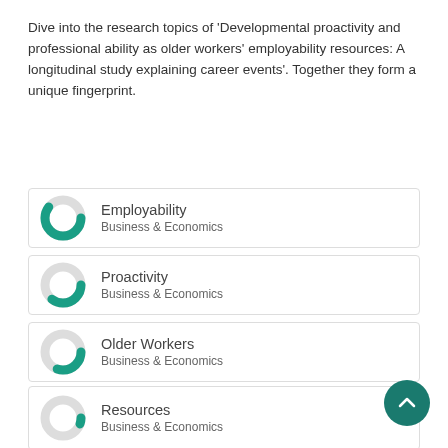Dive into the research topics of 'Developmental proactivity and professional ability as older workers' employability resources: A longitudinal study explaining career events'. Together they form a unique fingerprint.
Employability — Business & Economics
Proactivity — Business & Economics
Older Workers — Business & Economics
Longitudinal Study — Business & Economics
Resources — Business & Economics